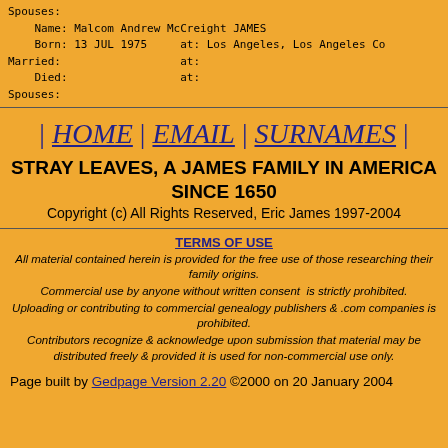Spouses:
    Name: Malcom Andrew McCreight JAMES
    Born: 13 JUL 1975     at: Los Angeles, Los Angeles Co
Married:                   at:
    Died:                  at:
Spouses:
| HOME | EMAIL | SURNAMES |
STRAY LEAVES, A JAMES FAMILY IN AMERICA SINCE 1650
Copyright (c) All Rights Reserved, Eric James 1997-2004
TERMS OF USE
All material contained herein is provided for the free use of those researching their family origins.
Commercial use by anyone without written consent is strictly prohibited.
Uploading or contributing to commercial genealogy publishers & .com companies is prohibited.
Contributors recognize & acknowledge upon submission that material may be distributed freely & provided it is used for non-commercial use only.
Page built by Gedpage Version 2.20 ©2000 on 20 January 2004